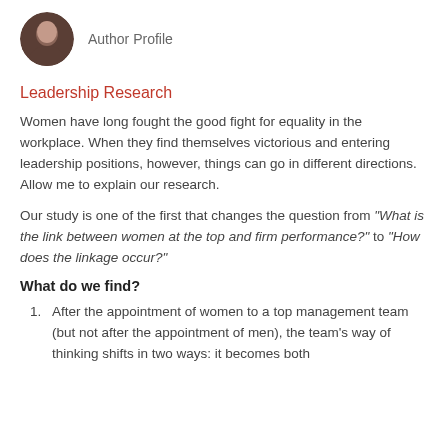[Figure (photo): Circular avatar photo of an author, partially cropped at top]
Author Profile
Leadership Research
Women have long fought the good fight for equality in the workplace. When they find themselves victorious and entering leadership positions, however, things can go in different directions. Allow me to explain our research.
Our study is one of the first that changes the question from “What is the link between women at the top and firm performance?” to “How does the linkage occur?”
What do we find?
After the appointment of women to a top management team (but not after the appointment of men), the team’s way of thinking shifts in two ways: it becomes both